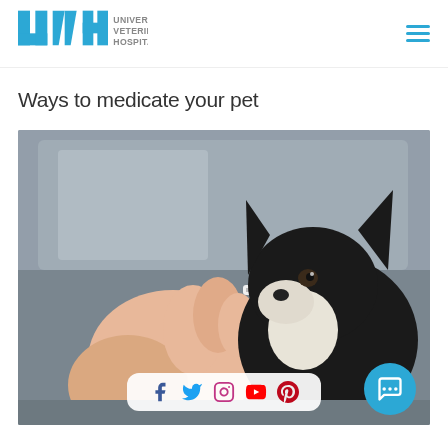[Figure (logo): University Veterinary Hospital logo with UVH initials in blue and text 'UNIVERSITY VETERINARY HOSPITAL' in grey]
Ways to medicate your pet
[Figure (photo): Person offering a pill or syringe to a small black and white Chihuahua dog sitting on a grey sofa]
[Figure (infographic): Social media icons row: Facebook, Twitter, Instagram, YouTube, Pinterest on a white rounded bar at the bottom of the photo]